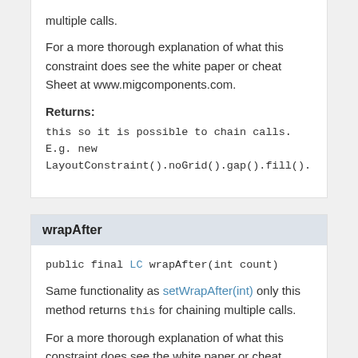multiple calls.
For a more thorough explanation of what this constraint does see the white paper or cheat Sheet at www.migcomponents.com.
Returns:
this so it is possible to chain calls. E.g. new LayoutConstraint().noGrid().gap().fill().
wrapAfter
public final LC wrapAfter(int count)
Same functionality as setWrapAfter(int) only this method returns this for chaining multiple calls.
For a more thorough explanation of what this constraint does see the white paper or cheat Sheet at www.migcomponents.com.